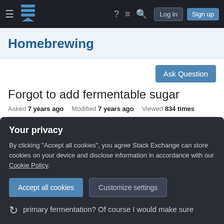Homebrewing — Stack Exchange navigation bar with Log in and Sign up buttons
Homebrewing
Ask Question
Forgot to add fermentable sugar
Asked 7 years ago  Modified 7 years ago  Viewed 834 times
I started a saison 3 days ago, and the recipe called
Your privacy
By clicking "Accept all cookies", you agree Stack Exchange can store cookies on your device and disclose information in accordance with our Cookie Policy.
Accept all cookies   Customize settings
primary fermentation? Of course I would make sure